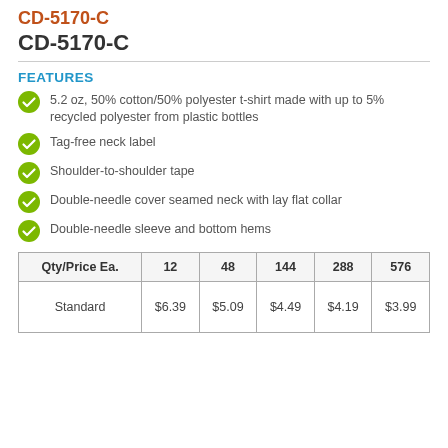CD-5170-C
FEATURES
5.2 oz, 50% cotton/50% polyester t-shirt made with up to 5% recycled polyester from plastic bottles
Tag-free neck label
Shoulder-to-shoulder tape
Double-needle cover seamed neck with lay flat collar
Double-needle sleeve and bottom hems
| Qty/Price Ea. | 12 | 48 | 144 | 288 | 576 |
| --- | --- | --- | --- | --- | --- |
| Standard | $6.39 | $5.09 | $4.49 | $4.19 | $3.99 |